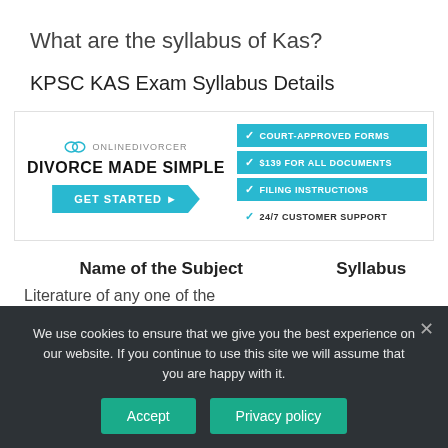What are the syllabus of Kas?
KPSC KAS Exam Syllabus Details
[Figure (infographic): Online Divorcer advertisement banner with logo, 'DIVORCE MADE SIMPLE', GET STARTED button, and feature list: COURT-APPROVED FORMS, $139 FOR ALL DOCUMENTS, FILING INSTRUCTIONS, 24/7 CUSTOMER SUPPORT]
| Name of the Subject | Syllabus |
| --- | --- |
| Literature of any one of the |  |
We use cookies to ensure that we give you the best experience on our website. If you continue to use this site we will assume that you are happy with it.